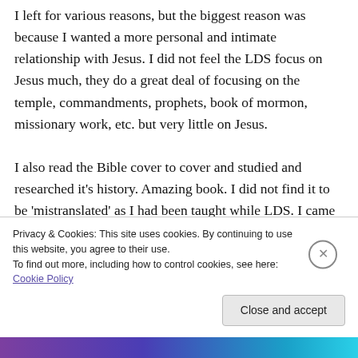I left for various reasons, but the biggest reason was because I wanted a more personal and intimate relationship with Jesus. I did not feel the LDS focus on Jesus much, they do a great deal of focusing on the temple, commandments, prophets, book of mormon, missionary work, etc. but very little on Jesus. I also read the Bible cover to cover and studied and researched it's history. Amazing book. I did not find it to be 'mistranslated' as I had been taught while LDS. I came to realize grace works.
Privacy & Cookies: This site uses cookies. By continuing to use this website, you agree to their use. To find out more, including how to control cookies, see here: Cookie Policy